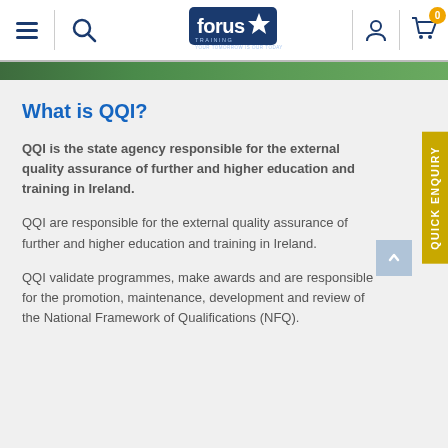Forus Training navigation bar
[Figure (screenshot): Green image strip at top]
What is QQI?
QQI is the state agency responsible for the external quality assurance of further and higher education and training in Ireland.
QQI are responsible for the external quality assurance of further and higher education and training in Ireland.
QQI validate programmes, make awards and are responsible for the promotion, maintenance, development and review of the National Framework of Qualifications (NFQ).